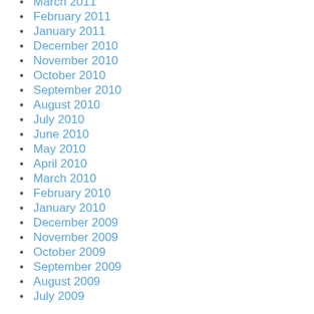March 2011
February 2011
January 2011
December 2010
November 2010
October 2010
September 2010
August 2010
July 2010
June 2010
May 2010
April 2010
March 2010
February 2010
January 2010
December 2009
November 2009
October 2009
September 2009
August 2009
July 2009